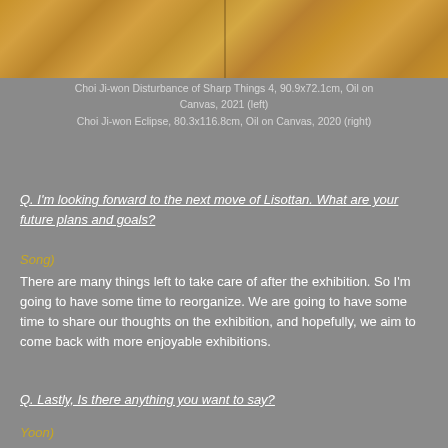[Figure (photo): Photograph of two wood-toned paintings side by side showing warm golden-brown surface textures with a vertical seam in the middle]
Choi Ji-won Disturbance of Sharp Things 4, 90.9x72.1cm, Oil on Canvas, 2021 (left)
Choi Ji-won Eclipse, 80.3x116.8cm, Oil on Canvas, 2020 (right)
Q. I'm looking forward to the next move of Lisottan. What are your future plans and goals?
Song)
There are many things left to take care of after the exhibition. So I'm going to have some time to reorganize. We are going to have some time to share our thoughts on the exhibition, and hopefully, we aim to come back with more enjoyable exhibitions.
Q. Lastly, Is there anything you want to say?
Yoon)